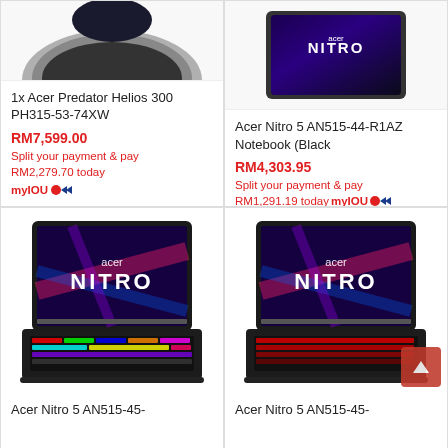[Figure (photo): Acer Predator Helios 300 laptop partial image at top]
1x Acer Predator Helios 300 PH315-53-74XW
RM7,599.00
Split your payment & pay
RM2,279.70 today
myIOU
[Figure (photo): Acer Nitro 5 AN515-44-R1AZ Notebook partial image]
Acer Nitro 5 AN515-44-R1AZ Notebook (Black
RM4,303.95
Split your payment & pay
RM1,291.19 today myIOU
[Figure (photo): Acer Nitro laptop with RGB keyboard and NITRO branding on screen]
Acer Nitro 5 AN515-45-
[Figure (photo): Acer Nitro laptop with red keyboard and NITRO branding on screen]
Acer Nitro 5 AN515-45-